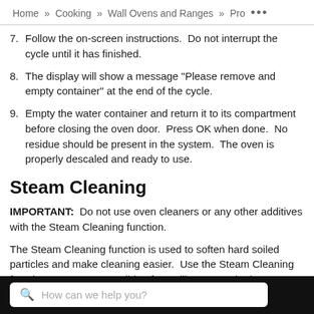Home » Cooking » Wall Ovens and Ranges » Pro ...
7. Follow the on-screen instructions.  Do not interrupt the cycle until it has finished.
8. The display will show a message "Please remove and empty container" at the end of the cycle.
9. Empty the water container and return it to its compartment before closing the oven door.  Press OK when done.  No residue should be present in the system.  The oven is properly descaled and ready to use.
Steam Cleaning
IMPORTANT:  Do not use oven cleaners or any other additives with the Steam Cleaning function.
The Steam Cleaning function is used to soften hard soiled particles and make cleaning easier.  Use the Steam Cleaning function as soon as possible after spills occur.  The longer a spill sits and dries
How can we help you?